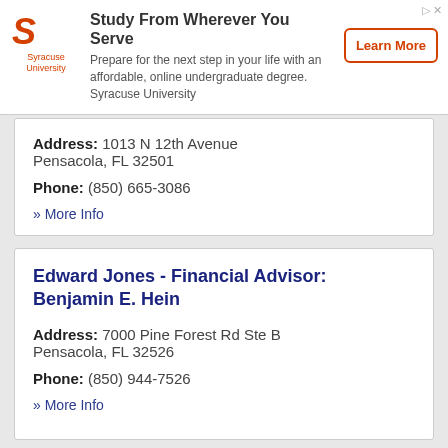[Figure (other): Syracuse University advertisement banner: logo with orange S, text 'Study From Wherever You Serve', subtitle 'Prepare for the next step in your life with an affordable, online undergraduate degree. Syracuse University', and an orange 'Learn More' button.]
Address: 1013 N 12th Avenue Pensacola, FL 32501
Phone: (850) 665-3086
» More Info
Edward Jones - Financial Advisor: Benjamin E. Hein
Address: 7000 Pine Forest Rd Ste B Pensacola, FL 32526
Phone: (850) 944-7526
» More Info